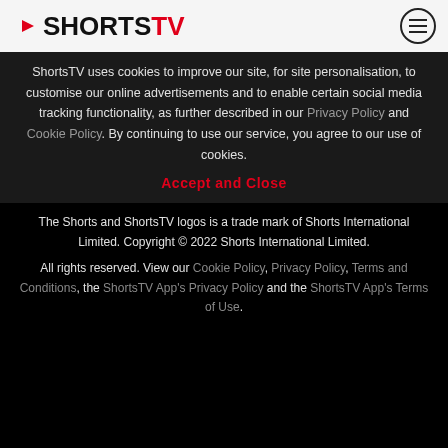ShortsTV
ShortsTV uses cookies to improve our site, for site personalisation, to customise our online advertisements and to enable certain social media tracking functionality, as further described in our Privacy Policy and Cookie Policy. By continuing to use our service, you agree to our use of cookies.
Accept and Close
The Shorts and ShortsTV logos is a trade mark of Shorts International Limited. Copyright © 2022 Shorts International Limited.
All rights reserved. View our Cookie Policy, Privacy Policy, Terms and Conditions, the ShortsTV App's Privacy Policy and the ShortsTV App's Terms of Use.